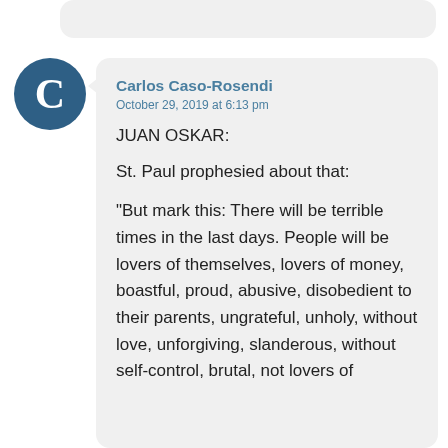Carlos Caso-Rosendi
October 29, 2019 at 6:13 pm
JUAN OSKAR:

St. Paul prophesied about that:

“But mark this: There will be terrible times in the last days. People will be lovers of themselves, lovers of money, boastful, proud, abusive, disobedient to their parents, ungrateful, unholy, without love, unforgiving, slanderous, without self-control, brutal, not lovers of